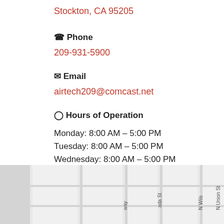Stockton, CA 95205
Phone
209-931-5900
Email
airtech209@comcast.net
Hours of Operation
Monday: 8:00 AM – 5:00 PM
Tuesday: 8:00 AM – 5:00 PM
Wednesday: 8:00 AM – 5:00 PM
Thursday: 8:00 AM – 5:00 PM
Friday: 8:00 AM – 5:00 PM
Saturday & Sunday: On Call
[Figure (map): Street map showing area around business location in Stockton, CA. Street labels visible: N Union St, n St, way, ada St, N Wils]